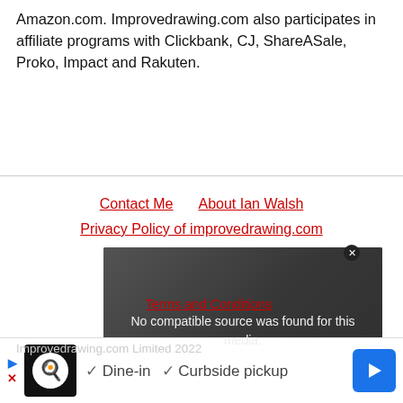Amazon.com. Improvedrawing.com also participates in affiliate programs with Clickbank, CJ, ShareASale, Proko, Impact and Rakuten.
Contact Me   About Ian Walsh
Privacy Policy of improvedrawing.com
Terms and Conditions
[Figure (screenshot): Video player overlay showing 'No compatible source was found for this media.' with a dark background and tree texture. Shows text 'Drawing Guides 2022 For Beginners' and 'Improvedrawing.com Limited 2022'. Has a close (X) button and an X dismiss button.]
Improvedrawing.com Limited 2022
[Figure (screenshot): Advertisement bar at the bottom showing a restaurant logo (chef icon), checkmarks for Dine-in and Curbside pickup, and a blue navigation arrow button. Has play and close controls on the left.]